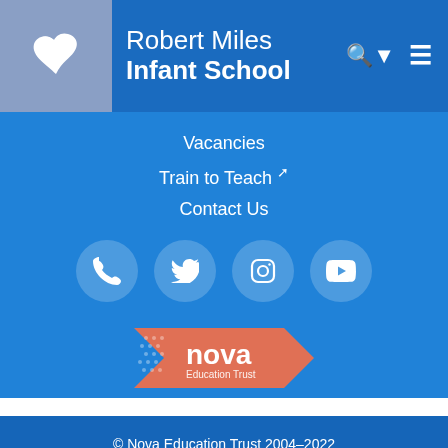Robert Miles Infant School
Vacancies
Train to Teach [external link]
Contact Us
[Figure (infographic): Four social media icon circles: phone, Twitter, Instagram, YouTube]
[Figure (logo): Nova Education Trust logo - orange/salmon arrow shape with white text]
© Nova Education Trust 2004–2022
Cookie Policy | Website Use Terms and Conditions
[Figure (logo): Ofsted Good Provider badge - white rounded rectangle with stars, Ofsted text, Good Provider text]